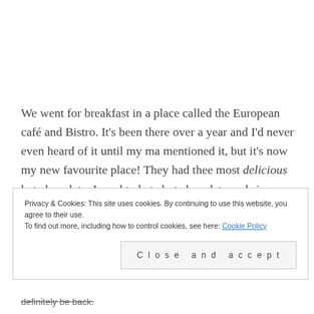We went for breakfast in a place called the European café and Bistro. It's been there over a year and I'd never even heard of it until my ma mentioned it, but it's now my new favourite place! They had thee most delicious hot chocolate. I used to hate hot chocolate and since coming to the realisation it's actually heavenly. I get it every
Privacy & Cookies: This site uses cookies. By continuing to use this website, you agree to their use.
To find out more, including how to control cookies, see here: Cookie Policy
Close and accept
definitely be back.